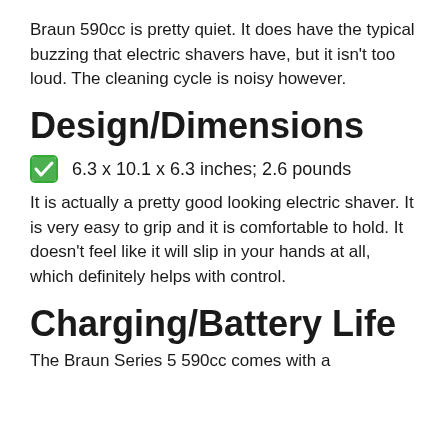Braun 590cc is pretty quiet. It does have the typical buzzing that electric shavers have, but it isn't too loud. The cleaning cycle is noisy however.
Design/Dimensions
6.3 x 10.1 x 6.3 inches; 2.6 pounds
It is actually a pretty good looking electric shaver. It is very easy to grip and it is comfortable to hold. It doesn't feel like it will slip in your hands at all, which definitely helps with control.
Charging/Battery Life
The Braun Series 5 590cc comes with a...